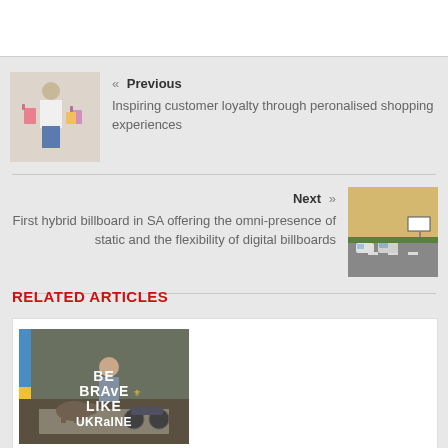[Figure (photo): White header bar at top of page]
« Previous
Inspiring customer loyalty through peronalised shopping experiences
[Figure (photo): Person holding shopping bags against white brick wall]
Next »
First hybrid billboard in SA offering the omni-presence of static and the flexibility of digital billboards
[Figure (photo): Highway with cars and billboard in background]
RELATED ARTICLES
[Figure (photo): Be Brave Like Ukraine - image with text overlay showing person with dog on road, Ukrainian flag colors on left side]